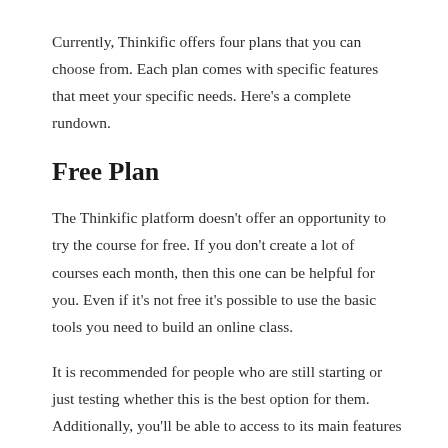Currently, Thinkific offers four plans that you can choose from. Each plan comes with specific features that meet your specific needs. Here's a complete rundown.
Free Plan
The Thinkific platform doesn't offer an opportunity to try the course for free. If you don't create a lot of courses each month, then this one can be helpful for you. Even if it's not free it's possible to use the basic tools you need to build an online class.
It is recommended for people who are still starting or just testing whether this is the best option for them. Additionally, you'll be able to access to its main features such as content hosting, the ability to create surveys and quizzes, customer support, unlimited students, and even tools for creating unlimited courses while having instant access to your account.